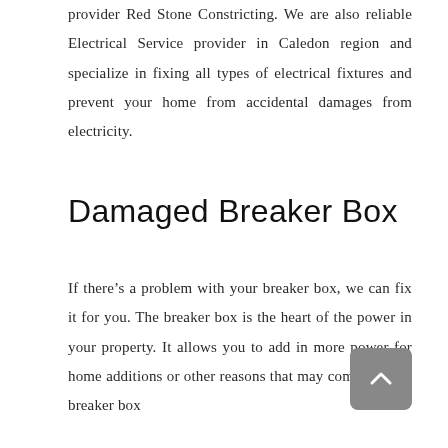provider Red Stone Constricting. We are also reliable Electrical Service provider in Caledon region and specialize in fixing all types of electrical fixtures and prevent your home from accidental damages from electricity.
Damaged Breaker Box
If there's a problem with your breaker box, we can fix it for you. The breaker box is the heart of the power in your property. It allows you to add in more power for home additions or other reasons that may come up. The breaker box